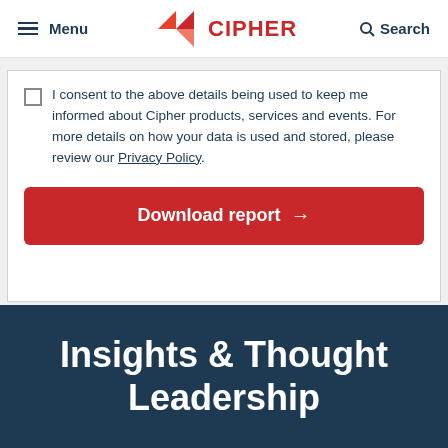Menu  CIPHER  Search
I consent to the above details being used to keep me informed about Cipher products, services and events. For more details on how your data is used and stored, please review our Privacy Policy.
Download report →
Insights & Thought Leadership